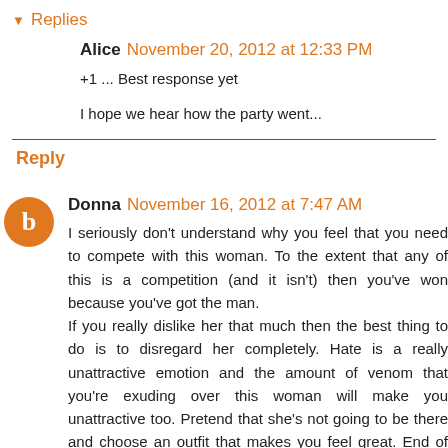Replies
Alice  November 20, 2012 at 12:33 PM
+1 ... Best response yet

I hope we hear how the party went...
Reply
Donna  November 16, 2012 at 7:47 AM
I seriously don't understand why you feel that you need to compete with this woman. To the extent that any of this is a competition (and it isn't) then you've won because you've got the man.
If you really dislike her that much then the best thing to do is to disregard her completely. Hate is a really unattractive emotion and the amount of venom that you're exuding over this woman will make you unattractive too. Pretend that she's not going to be there and choose an outfit that makes you feel great. End of story.